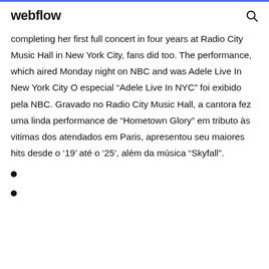webflow
completing her first full concert in four years at Radio City Music Hall in New York City, fans did too. The performance, which aired Monday night on NBC and was Adele Live In New York City O especial “Adele Live In NYC” foi exibido pela NBC. Gravado no Radio City Music Hall, a cantora fez uma linda performance de “Hometown Glory” em tributo às vitimas dos atendados em Paris, apresentou seu maiores hits desde o ‘19’ até o ‘25’, além da música “Skyfall”.